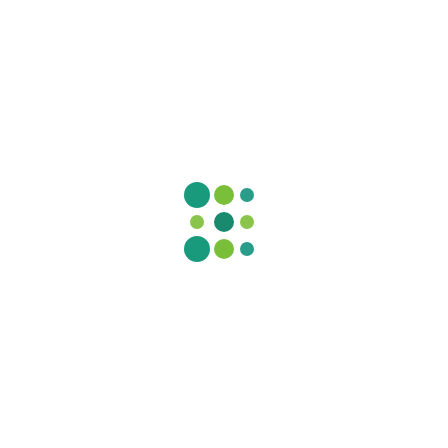[Figure (logo): A 3x3 grid logo made of circles in varying shades of teal/dark-green and lime/light-green. Top row: large teal circle, medium lime-green circle, small teal circle. Middle row: small lime-green circle, medium teal circle, small lime-green circle. Bottom row: large teal circle, medium lime-green circle, small teal circle.]